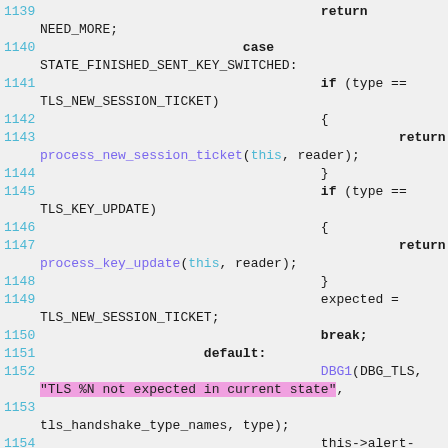[Figure (screenshot): Source code listing showing C/C++ code lines 1139-1154, with line numbers in cyan, function names in purple, string literals highlighted in pink/magenta background, keywords in dark, on a light gray background.]